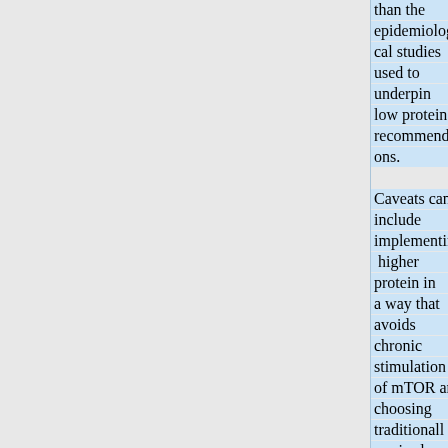than the epidemiological studies used to underpin low protein recommendations. Caveats can include implementing higher protein in a way that avoids chronic stimulation of mTOR and choosing traditionally raised